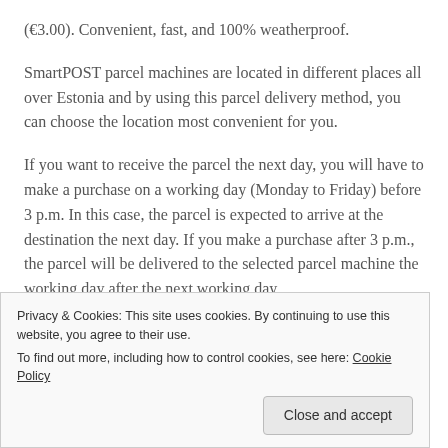(€3.00). Convenient, fast, and 100% weatherproof.
SmartPOST parcel machines are located in different places all over Estonia and by using this parcel delivery method, you can choose the location most convenient for you.
If you want to receive the parcel the next day, you will have to make a purchase on a working day (Monday to Friday) before 3 p.m. In this case, the parcel is expected to arrive at the destination the next day. If you make a purchase after 3 p.m., the parcel will be delivered to the selected parcel machine the working day after the next working day.
Privacy & Cookies: This site uses cookies. By continuing to use this website, you agree to their use. To find out more, including how to control cookies, see here: Cookie Policy
Close and accept